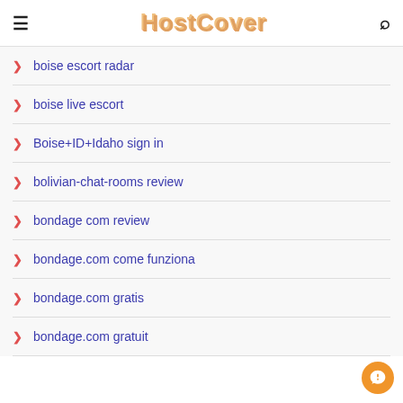HostCover
boise escort radar
boise live escort
Boise+ID+Idaho sign in
bolivian-chat-rooms review
bondage com review
bondage.com come funziona
bondage.com gratis
bondage.com gratuit